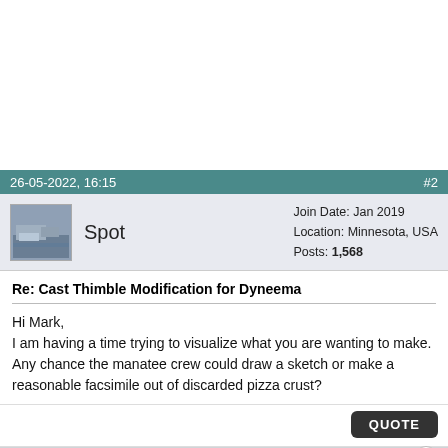26-05-2022, 16:15  #2
Spot  Join Date: Jan 2019  Location: Minnesota, USA  Posts: 1,568
Re: Cast Thimble Modification for Dyneema
Hi Mark,
I am having a time trying to visualize what you are wanting to make. Any chance the manatee crew could draw a sketch or make a reasonable facsimile out of discarded pizza crust?
27-05-2022, 10:12  #3